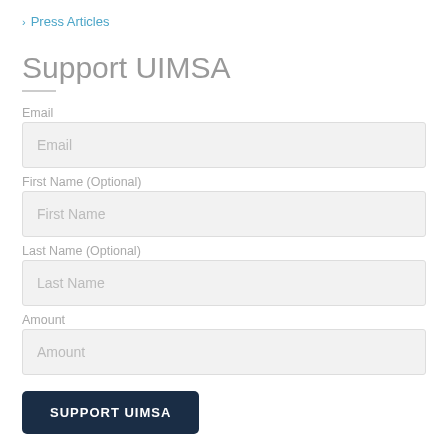> Press Articles
Support UIMSA
Email
Email
First Name (Optional)
First Name
Last Name (Optional)
Last Name
Amount
Amount
SUPPORT UIMSA